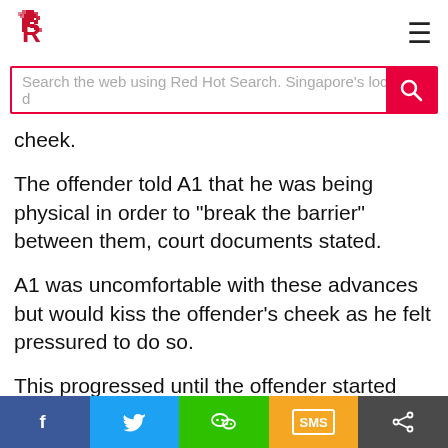R (Red Hot logo) | hamburger menu
Search the web using Red Hot Search. Singapore's localized
cheek.
The offender told A1 that he was being physical in order to "break the barrier" between them, court documents stated.
A1 was uncomfortable with these advances but would kiss the offender's cheek as he felt pressured to do so.
This progressed until the offender started touching A1's private parts in his bedroom, without the boy's consent. He did this on five occasions in 2017, up to July that year.
On Jul 20, 2017, the principal of the school made a police report on the offender's behaviour.
Facebook | Twitter | WeChat | SMS | Share